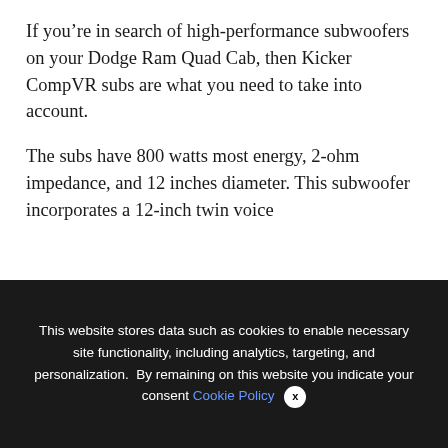If you’re in search of high-performance subwoofers on your Dodge Ram Quad Cab, then Kicker CompVR subs are what you need to take into account.
The subs have 800 watts most energy, 2-ohm impedance, and 12 inches diameter. This subwoofer incorporates a 12-inch twin voice
We use cookies on our website to give you the most relevant experience by remembering your preferences and repeat visits. By clicking “Accept All”, you consent to the use of ALL the controlled consent.
This website stores data such as cookies to enable necessary site functionality, including analytics, targeting, and personalization. By remaining on this website you indicate your consent Cookie Policy